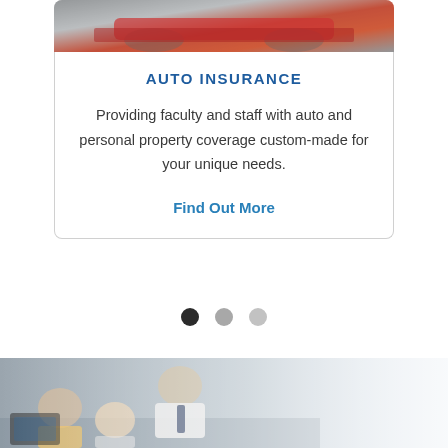[Figure (photo): Top portion of a car photo visible at the very top of the card, showing red/silver auto]
AUTO INSURANCE
Providing faculty and staff with auto and personal property coverage custom-made for your unique needs.
Find Out More
[Figure (other): Carousel pagination dots: one dark active dot and two lighter inactive dots]
[Figure (photo): Bottom photo showing a classroom scene with instructor leaning over to help students at computers]